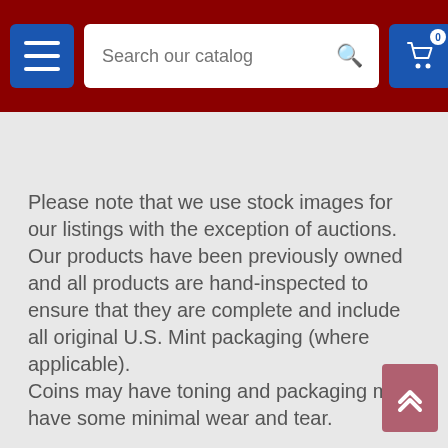[Figure (screenshot): Mobile website navigation bar with dark red background, hamburger menu button (blue), search bar with placeholder 'Search our catalog', and shopping cart icon (blue) with badge showing 0]
Please note that we use stock images for our listings with the exception of auctions.
Our products have been previously owned and all products are hand-inspected to ensure that they are complete and include all original U.S. Mint packaging (where applicable).
Coins may have toning and packaging may have some minimal wear and tear.